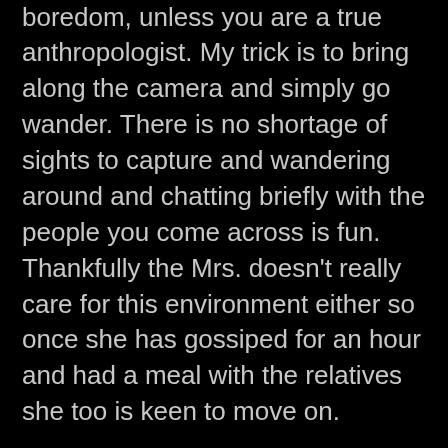boredom, unless you are a true anthropologist. My trick is to bring along the camera and simply go wander. There is no shortage of sights to capture and wandering around and chatting briefly with the people you come across is fun. Thankfully the Mrs. doesn't really care for this environment either so once she has gossiped for an hour and had a meal with the relatives she too is keen to move on.